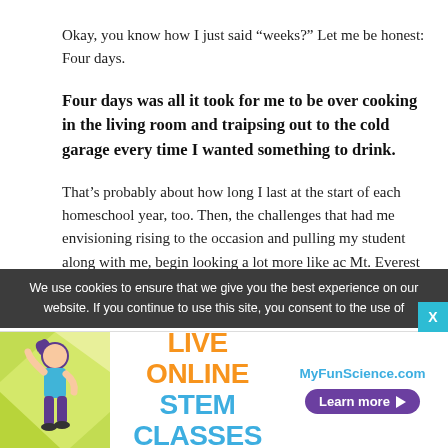Okay, you know how I just said “weeks?” Let me be honest: Four days.
Four days was all it took for me to be over cooking in the living room and traipsing out to the cold garage every time I wanted something to drink.
That’s probably about how long I last at the start of each homeschool year, too. Then, the challenges that had me envisioning rising to the occasion and pulling my student along with me, begin looking a lot more like ac Mt. Everest
We use cookies to ensure that we give you the best experience on our website. If you continue to use this site, you consent to the use of
[Figure (infographic): Advertisement banner for MyFunScience.com featuring Live Online STEM Classes with a cartoon girl figure and a Learn more button]